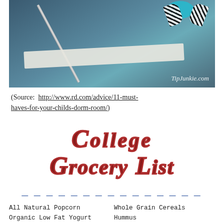[Figure (photo): Photo showing craft supplies including a pencil, white paper strip, and zebra-print ribbon bow with teal fabric, on a dark background with watermark TipJunkie.com]
(Source: http://www.rd.com/advice/11-must-haves-for-your-childs-dorm-room/)
College Grocery List
All Natural Popcorn
Organic Low Fat Yogurt
Whole Grain Cereals
Hummus
Salt-less Pretzels